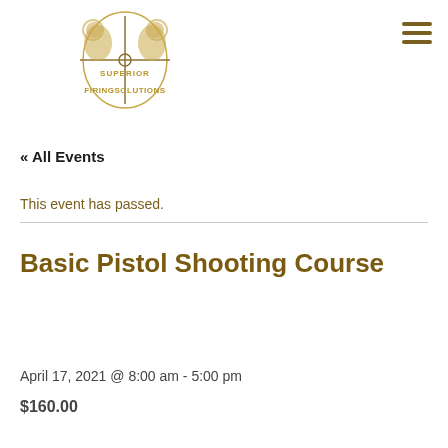[Figure (logo): Superior Firing Solutions logo — two lions flanking a rifle scope crosshair, with text 'SUPERIOR FIRINGSOLUTIONS' in gold/tan color]
« All Events
This event has passed.
Basic Pistol Shooting Course
April 17, 2021 @ 8:00 am - 5:00 pm
$160.00